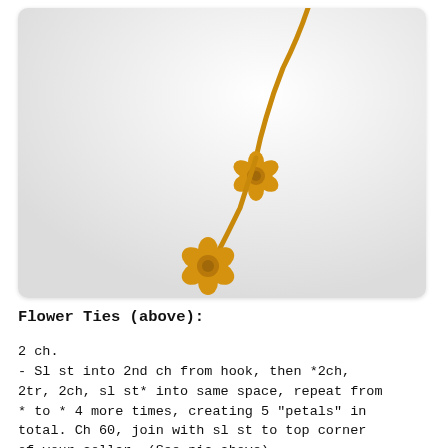[Figure (photo): A golden yellow crocheted cord with two small crocheted flowers attached, hanging against a white background.]
Flower Ties (above):
2 ch.
- Sl st into 2nd ch from hook, then *2ch, 2tr, 2ch, sl st* into same space, repeat from * to * 4 more times, creating 5 "petals" in total. Ch 60, join with sl st to top corner of your collar. (See pic above)